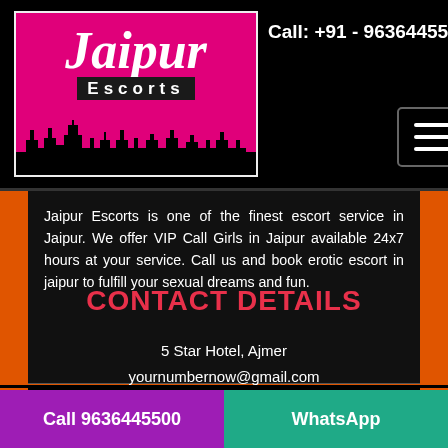[Figure (logo): Jaipur Escorts logo with pink background, city silhouette, and white text]
Call: +91 - 9636445500
Jaipur Escorts is one of the finest escort service in Jaipur. We offer VIP Call Girls in Jaipur available 24x7 hours at your service. Call us and book erotic escort in jaipur to fulfill your sexual dreams and fun.
CONTACT DETAILS
5 Star Hotel, Ajmer
yournumbernow@gmail.com
Call 9636445500   WhatsApp